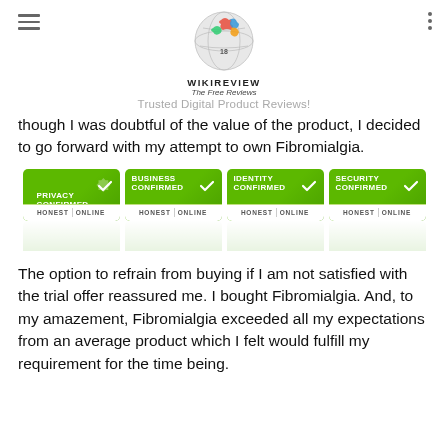WIKIREVIEW The Free Reviews — Trusted Digital Product Reviews!
though I was doubtful of the value of the product, I decided to go forward with my attempt to own Fibromialgia.
[Figure (infographic): Four green trust badge icons: PRIVACY CONFIRMED, BUSINESS CONFIRMED, IDENTITY CONFIRMED, SECURITY CONFIRMED, each with HONEST ONLINE text at bottom]
The option to refrain from buying if I am not satisfied with the trial offer reassured me. I bought Fibromialgia. And, to my amazement, Fibromialgia exceeded all my expectations from an average product which I felt would fulfill my requirement for the time being.